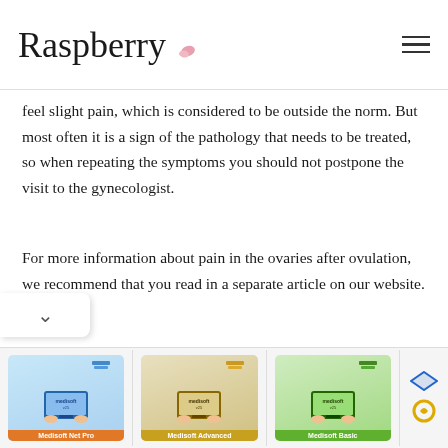Raspberry
feel slight pain, which is considered to be outside the norm. But most often it is a sign of the pathology that needs to be treated, so when repeating the symptoms you should not postpone the visit to the gynecologist.
For more information about pain in the ovaries after ovulation, we recommend that you read in a separate article on our website.
[Figure (photo): Medical illustration showing ovarian anatomy on dark background]
[Figure (photo): Advertisement banner for Medisoft v25 software showing three product tiers: Medisoft Net Pro, Medisoft Advanced, Medisoft Basic]